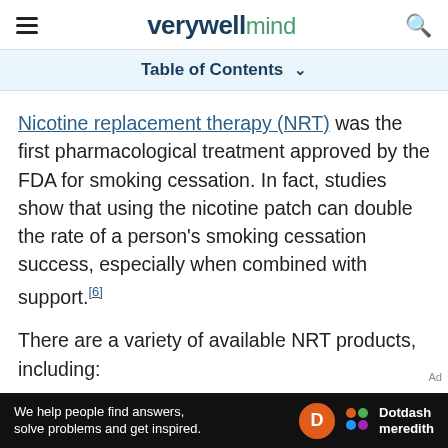verywell mind
Table of Contents
Nicotine replacement therapy (NRT) was the first pharmacological treatment approved by the FDA for smoking cessation. In fact, studies show that using the nicotine patch can double the rate of a person's smoking cessation success, especially when combined with support.[6]
There are a variety of available NRT products, including:
Nicotine gum
Nicotine inhaler
We help people find answers, solve problems and get inspired. Dotdash meredith